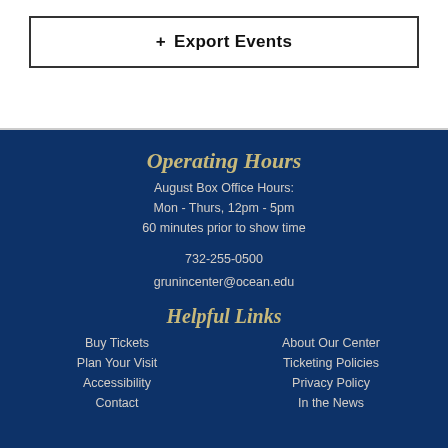+ Export Events
Operating Hours
August Box Office Hours:
Mon - Thurs, 12pm - 5pm
60 minutes prior to show time
732-255-0500
grunincenter@ocean.edu
Helpful Links
Buy Tickets
About Our Center
Plan Your Visit
Ticketing Policies
Accessibility
Privacy Policy
Contact
In the News